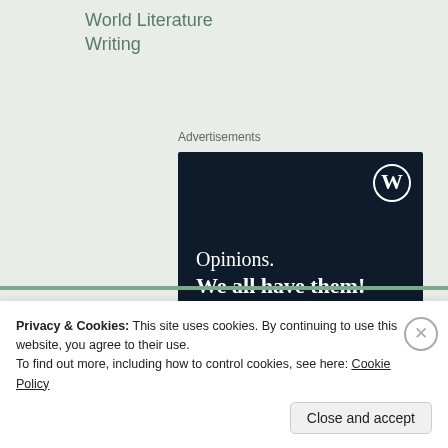World Literature
Writing
Advertisements
[Figure (illustration): Dark navy advertisement banner for WordPress/Crowdsignal with text 'Opinions. We all have them!' and a 'Start a survey' button. Includes WordPress logo and Crowdsignal logo.]
Privacy & Cookies: This site uses cookies. By continuing to use this website, you agree to their use.
To find out more, including how to control cookies, see here: Cookie Policy
Close and accept